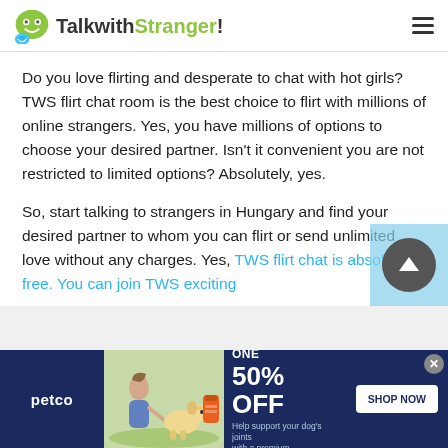TalkwithStranger!
Do you love flirting and desperate to chat with hot girls? TWS flirt chat room is the best choice to flirt with millions of online strangers. Yes, you have millions of options to choose your desired partner. Isn't it convenient you are not restricted to limited options? Absolutely, yes.
So, start talking to strangers in Hungary and find your desired partner to whom you can flirt or send unlimited love without any charges. Yes, TWS flirt chat is absolutely free. You can join TWS exciting
[Figure (screenshot): Petco advertisement banner: BUY ONE, GET ONE 50% OFF. Help support your dog's joints with a premium supplement. SHOP NOW button. Image of woman with dog and supplement product.]